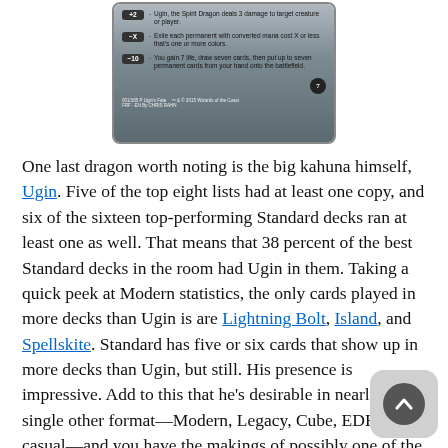[Figure (photo): Cropped image of the Ugin, the Spirit Dragon planeswalker card showing loyalty abilities: +2 deal 3 damage to target creature or player, -X exile each permanent with converted mana cost X or less that's one or more colors, -10 you gain 7 life draw seven cards then put up to seven permanent cards from your hand onto the battlefield. Loyalty 7.]
One last dragon worth noting is the big kahuna himself, Ugin. Five of the top eight lists had at least one copy, and six of the sixteen top-performing Standard decks ran at least one as well. That means that 38 percent of the best Standard decks in the room had Ugin in them. Taking a quick peek at Modern statistics, the only cards played in more decks than Ugin is are Lightning Bolt, Island, and Spellskite. Standard has five or six cards that show up in more decks than Ugin, but still. His presence is impressive. Add to this that he's desirable in nearly every single other format—Modern, Legacy, Cube, EDH, and casual—and you have the makings of possibly one of the most expensive cards in Standard since Jace, the Mind Sculptor. Ugin is comfortably over $30 right now, and I think it's more